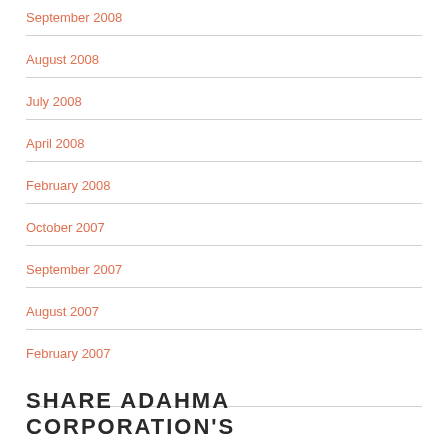September 2008
August 2008
July 2008
April 2008
February 2008
October 2007
September 2007
August 2007
February 2007
SHARE ADAHMA CORPORATION'S